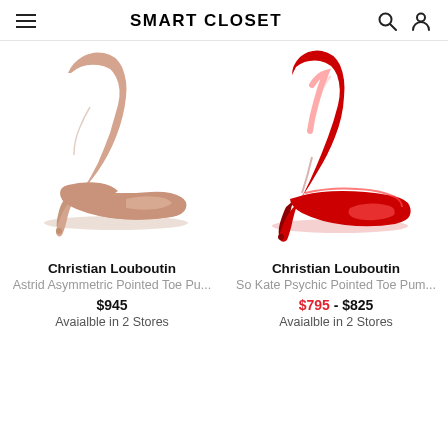SMART CLOSET
[Figure (photo): Nude/beige Christian Louboutin Astrid Asymmetric Pointed Toe Pump with d'Orsay cutout and stiletto heel]
Christian Louboutin
Astrid Asymmetric Pointed Toe Pu...
$945
Avaialble in 2 Stores
[Figure (photo): Metallic red Christian Louboutin So Kate Psychic Pointed Toe Pump with stiletto heel]
Christian Louboutin
So Kate Psychic Pointed Toe Pum...
$795 - $825
Avaialble in 2 Stores